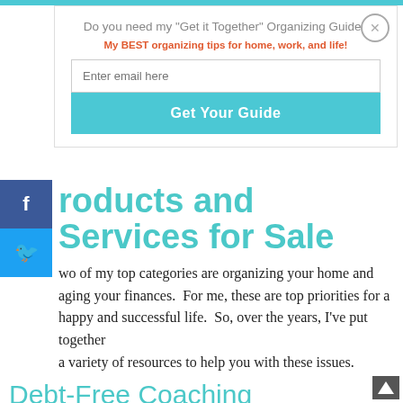Do you need my "Get it Together" Organizing Guide?
My BEST organizing tips for home, work, and life!
Enter email here
Get Your Guide
Products and Services for Sale
Two of my top categories are organizing your home and managing your finances.  For me, these are top priorities for a happy and successful life.  So, over the years, I've put together a variety of resources to help you with these issues.
Debt-Free Coaching
I've done debt-free coaching for several hundred people ove